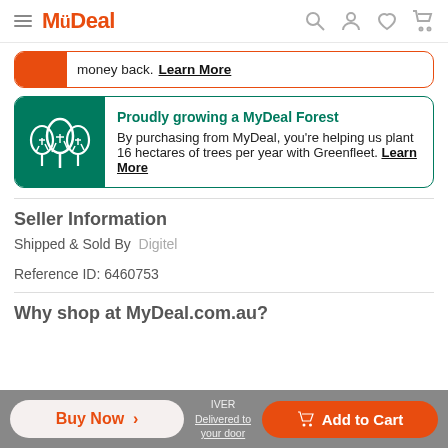MyDeal
money back. Learn More
[Figure (illustration): Green banner with tree icons promoting MyDeal Forest initiative]
Proudly growing a MyDeal Forest
By purchasing from MyDeal, you’re helping us plant 16 hectares of trees per year with Greenfleet. Learn More
Seller Information
Shipped & Sold By  Digitel
Reference ID: 6460753
Why shop at MyDeal.com.au?
Buy Now >   Add to Cart